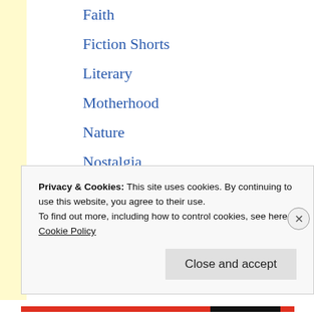Faith
Fiction Shorts
Literary
Motherhood
Nature
Nostalgia
Observations
Poetry
Political
Protest
teaching
The Ladies’ Room
Privacy & Cookies: This site uses cookies. By continuing to use this website, you agree to their use.
To find out more, including how to control cookies, see here: Cookie Policy
Close and accept